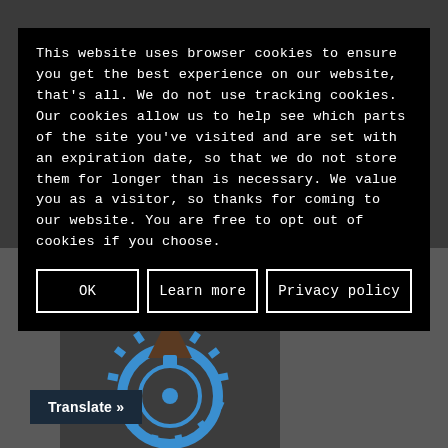Presca Sportswear
CONTACT US
Contact Our T...
About...
This website uses browser cookies to ensure you get the best experience on our website, that's all. We do not use tracking cookies. Our cookies allow us to help see which parts of the site you've visited and are set with an expiration date, so that we do not store them for longer than is necessary. We value you as a visitor, so thanks for coming to our website. You are free to opt out of cookies if you choose.
OK
Learn more
Privacy policy
PEDALNORTH
[Figure (illustration): Cycling logo with a gear/sprocket and a dark triangular shape on top, in blue tones]
Translate »